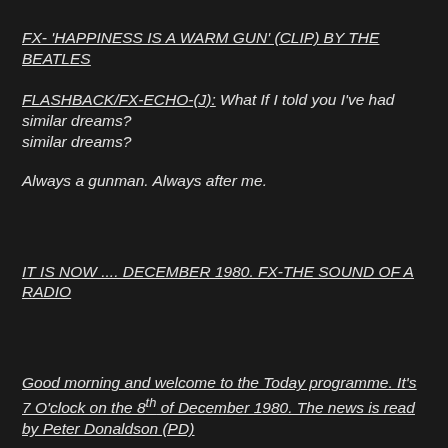FX- 'HAPPINESS IS A WARM GUN' (CLIP) BY THE BEATLES
FLASHBACK/FX-ECHO-(J): What If I told you I've had similar dreams?
Always a gunman. Always after me.
IT IS NOW .... DECEMBER 1980. FX-THE SOUND OF A RADIO
Good morning and welcome to the Today programme. It's 7 O'clock on the 8th of December 1980. The news is read by Peter Donaldson (PD)